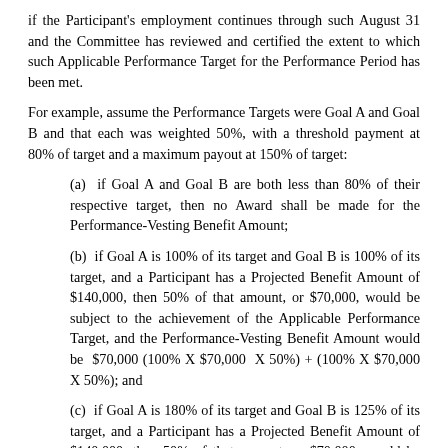if the Participant's employment continues through such August 31 and the Committee has reviewed and certified the extent to which such Applicable Performance Target for the Performance Period has been met.
For example, assume the Performance Targets were Goal A and Goal B and that each was weighted 50%, with a threshold payment at 80% of target and a maximum payout at 150% of target:
(a)  if Goal A and Goal B are both less than 80% of their respective target, then no Award shall be made for the Performance-Vesting Benefit Amount;
(b)  if Goal A is 100% of its target and Goal B is 100% of its target, and a Participant has a Projected Benefit Amount of $140,000, then 50% of that amount, or $70,000, would be subject to the achievement of the Applicable Performance Target, and the Performance-Vesting Benefit Amount would be  $70,000 (100% X $70,000  X 50%) + (100% X $70,000 X 50%); and
(c)  if Goal A is 180% of its target and Goal B is 125% of its target, and a Participant has a Projected Benefit Amount of $140,000, then 50% of that amount, or $70,000, would be subject to the achievement of the Applicable Performance Target, and the Performance-Vesting Benefit Amount would be $96,250 (150% (cap) X $70,000 X 50%) + (125% X $70,000 X 50%).